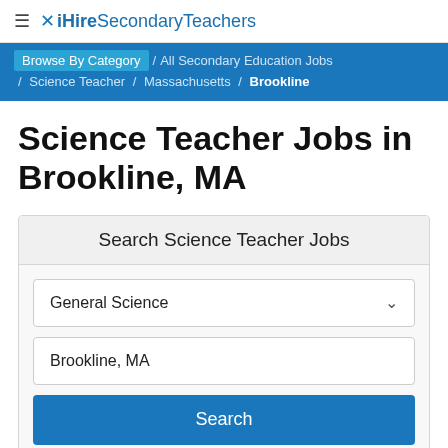≡ ✗ iHireSecondaryTeachers
Browse By Category / All Secondary Education Jobs / Science Teacher / Massachusetts / Brookline
Science Teacher Jobs in Brookline, MA
Search Science Teacher Jobs
General Science
Brookline, MA
Search